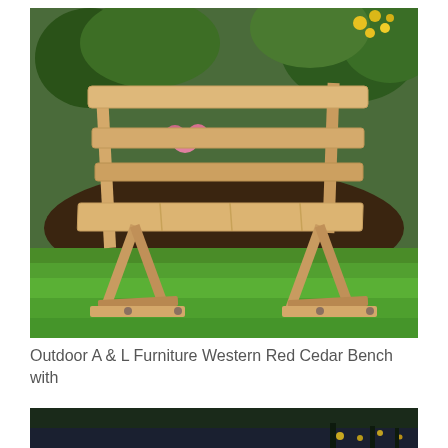[Figure (photo): A wooden garden bench with a backrest made of cedar planks, placed on a green lawn with flowering garden plants in the background. The bench has an A-frame style leg structure.]
Outdoor A & L Furniture Western Red Cedar Bench with Back
[Figure (photo): Bottom portion of another outdoor scene, partially visible, showing what appears to be a waterside or garden setting at dusk with small lights visible.]